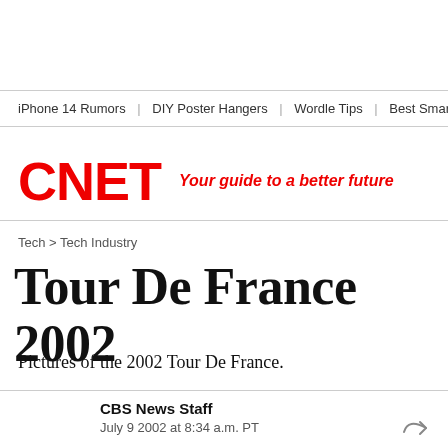iPhone 14 Rumors | DIY Poster Hangers | Wordle Tips | Best Smart Th
[Figure (logo): CNET logo in red bold text with tagline 'Your guide to a better future' in red italic]
Tech > Tech Industry
Tour De France 2002
Pictures of the 2002 Tour De France.
CBS News Staff
July 9 2002 at 8:34 a.m. PT